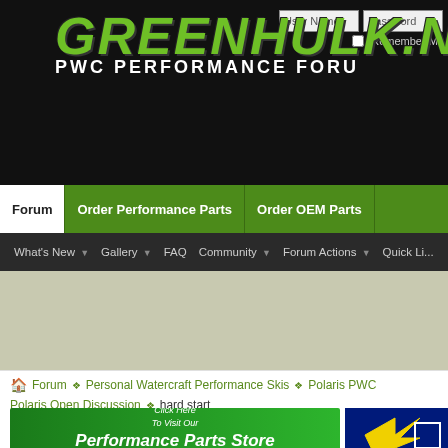[Figure (screenshot): Greenhulk.net PWC Performance Forum website header banner with green stylized logo text and black background]
User Name  Password  Remember Me
[Figure (screenshot): Navigation tabs: Forum (active/white), Order Performance Parts, Order OEM Parts]
[Figure (screenshot): Sub-navigation bar with: What's New, Gallery, FAQ, Community, Forum Actions, Quick Links]
Forum > Personal Watercraft Performance Skis > Polaris PWC > Polaris Open Discussion > hard start
[Figure (screenshot): Advertisement banner: Click Here To Visit Our Performance Parts Store - PWCPERFORMANCE.COM]
Sponsored Links